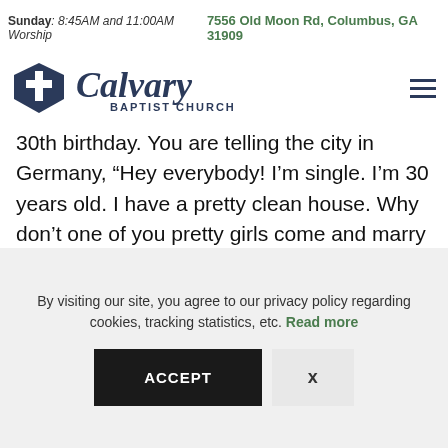Sunday: 8:45AM and 11:00AM Worship  7556 Old Moon Rd, Columbus, GA 31909
[Figure (logo): Calvary Baptist Church logo with cross icon and church name, plus hamburger menu icon]
30th birthday. You are telling the city in Germany, “Hey everybody! I’m single. I’m 30 years old. I have a pretty clean house. Why don’t one of you pretty girls come and marry me? It’s my birthday.” In Canada the family will hide around the house and wait for the most inopportune moment where they will smear butter or grease on your
By visiting our site, you agree to our privacy policy regarding cookies, tracking statistics, etc. Read more
ACCEPT  X